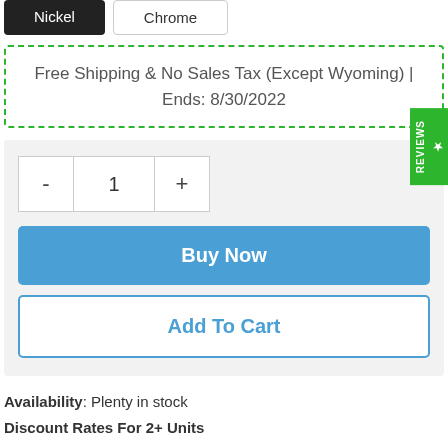[Figure (other): Product option buttons: Nickel (selected, dark) and Chrome (unselected, light)]
Free Shipping & No Sales Tax (Except Wyoming) | Ends: 8/30/2022
[Figure (other): Green REVIEWS side tab]
[Figure (other): Quantity selector with minus, 1, plus buttons; Buy Now blue button; Add To Cart outlined button]
Availability: Plenty in stock
Discount Rates For 2+ Units
Price Match Guarantee | ETA 7-10 Business Days